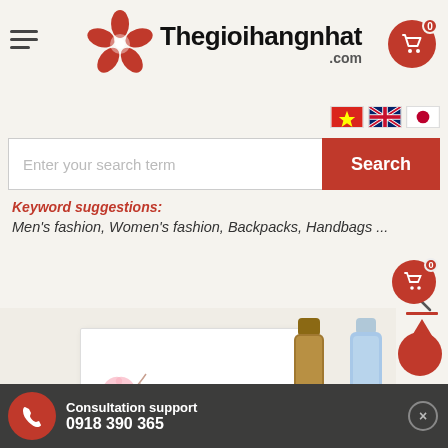[Figure (logo): Thegioihangnhat.com logo with red cherry blossom flower icon]
[Figure (screenshot): Language selector flags: Vietnamese flag, UK flag, Japanese flag]
Enter your search term
Search
Keyword suggestions:
Men's fashion, Women's fashion, Backpacks, Handbags ...
[Figure (photo): Japanese sake gift box with two sake bottles, cherry blossom decoration and Japanese kanji text]
Consultation support
0918 390 365